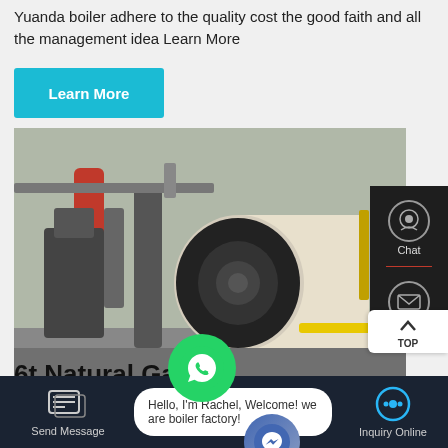Yuanda boiler adhere to the quality cost the good faith and all the management idea Learn More
Learn More
[Figure (photo): Industrial boilers installed in a facility — large cylindrical steam boilers with black front ends, yellow pipework, and support frames visible in an industrial plant setting.]
6t Natural Gas ... Pressure Boiler Azerbaijan
Contact us now!
Hello, I'm Rachel, Welcome! we are boiler factory!
Send Message
Inquiry Online